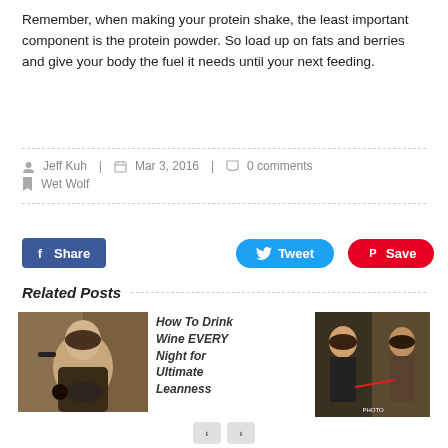Remember, when making your protein shake, the least important component is the protein powder. So load up on fats and berries and give your body the fuel it needs until your next feeding.
Jeff Kuh | Mar 3, 2016 | 0 comments
Wet Wolf
[Figure (other): Social sharing buttons: Share (Facebook, blue), Tweet (Twitter, light blue), Save (Pinterest, red)]
Related Posts
[Figure (photo): Woman drinking from a wine bottle]
How To Drink Wine EVERY Night for Ultimate Leanness
[Figure (photo): Before and after fitness transformation photos of a woman]